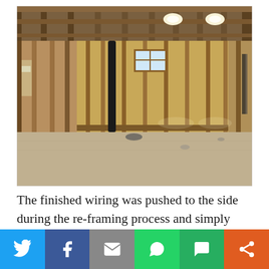[Figure (photo): Interior photo of a basement under construction showing wood framing, wall studs, ceiling joists with recessed lights, a small window, a black pipe, and a concrete floor.]
The finished wiring was pushed to the side during the re-framing process and simply needed to be secured to the new framing. In addition, the wires were bolted to...